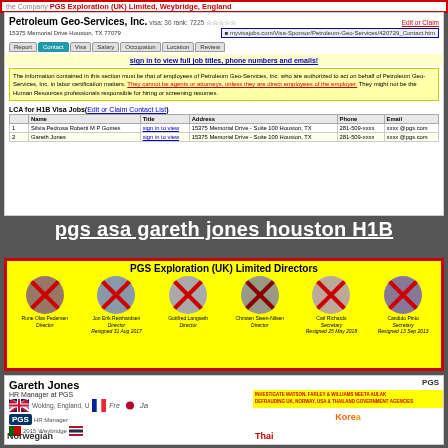[Figure (screenshot): Top banner showing PGS Exploration (UK) Limited, Weybridge, England in red border]
[Figure (screenshot): MyVisaJobs page for Petroleum Geo-Services Inc showing company info, tabs, notice about authorized employees, and LCA contact table with Silvia Pedrosa Roberti M P Gomes and Gareth Jones]
pgs asa gareth jones houston H1B
[Figure (infographic): PGS Exploration (UK) Limited Directors panel on yellow background with red border, showing 6 directors with crossed-out photos: Rune Olav Pedersen (Director), Jon Erik Reinhardsen (Director, Resigned 31 Aug 2017), Gottfred Langseth (Director), Christen Steen-Nilsen (Director), Carl Richards (Secretary, Resigned 25 May 2018), Candido Pinto (Secretary, Resigned 13 Sep 2013)]
[Figure (screenshot): LinkedIn profile of Gareth Jones, HR Manager at PGS, with flags and language labels, PGS logo, and yellow overlay about investigating Watson, Farley & Williams Neeta Aulak defrauding UK, Norway, USA & Thailand government agencies]